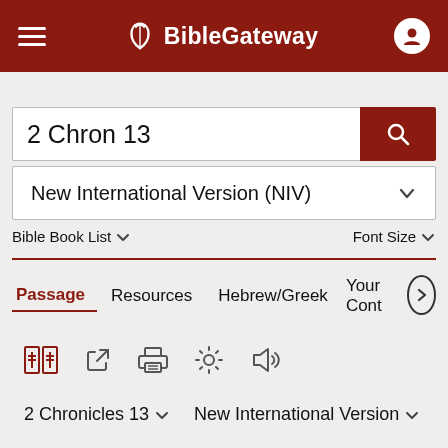BibleGateway
2 Chron 13
New International Version (NIV)
Bible Book List   Font Size
Passage   Resources   Hebrew/Greek   Your Cont
2 Chronicles 13   New International Version